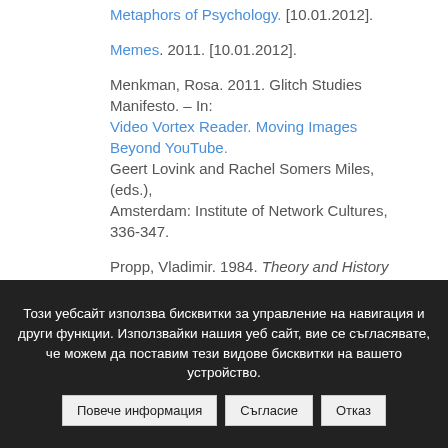Metaphors of Psychology. [10.01.2012].
Memes. 2011. [10.01.2012].
Menkman, Rosa. 2011. Glitch Studies Manifesto. – In: Video Vortex Reader. Moving Images Beyond YouTube. Geert Lovink and Rachel Somers Miles, (eds.), Amsterdam: Institute of Network Cultures, 336-347.
Propp, Vladimir. 1984. Theory and History of Folklore. Minneapolis: University of Minnesota Press.
Ralph, Michael and Gabriella Coleman. 2011. Is it a
Този уебсайт използва бисквитки за управление на навигация и други функции. Използвайки нашия уеб сайт, вие се съгласявате, че можем да поставим тези видове бисквитки на вашето устройство.
Повече информация | Съгласие | Отказ